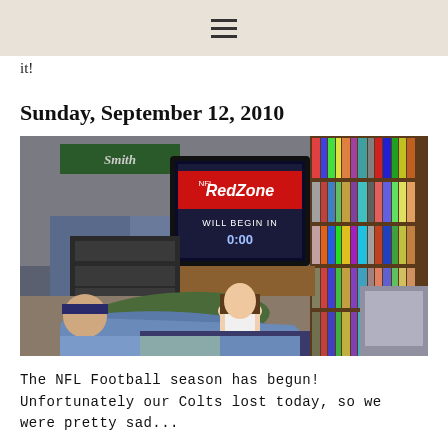≡
it!
Sunday, September 12, 2010
[Figure (photo): Indoor room scene with a person lying on the floor under a blue blanket, a young girl sitting upright, a large CRT TV displaying 'Red Zone WILL BEGIN IN 0:00', bookshelves filled with books/DVDs on the right, and a 'Smith' sign on the wall in the background.]
The NFL Football season has begun! Unfortunately our Colts lost today, so we were pretty sad...